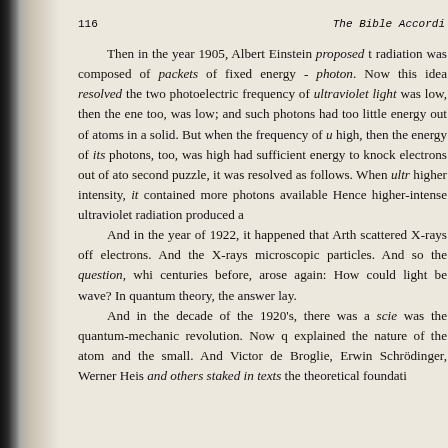116    The Bible Accord...
Then in the year 1905, Albert Einstein proposed that radiation was composed of packets of fixed energy - photon. Now this idea resolved the two photoelectric frequency of ultraviolet light was low, then the energy too, was low; and such photons had too little energy out of atoms in a solid. But when the frequency of u high, then the energy of its photons, too, was high had sufficient energy to knock electrons out of ato second puzzle, it was resolved as follows. When ultr higher intensity, it contained more photons available Hence higher-intense ultraviolet radiation produced a
And in the year of 1922, it happened that Arth scattered X-rays off electrons. And the X-rays microscopic particles. And so the question, whi centuries before, arose again: How could light be wave? In quantum theory, the answer lay.
And in the decade of the 1920's, there was a scie was the quantum-mechanic revolution. Now q explained the nature of the atom and the small. And Victor de Broglie, Erwin Schrödinger, Werner Heis and others staked in texts the theoretical foundati...